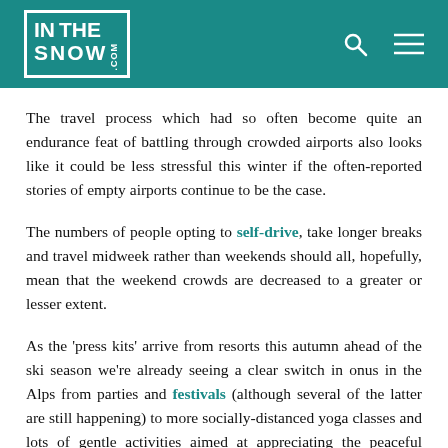INTHESNOW.COM
The travel process which had so often become quite an endurance feat of battling through crowded airports also looks like it could be less stressful this winter if the often-reported stories of empty airports continue to be the case.
The numbers of people opting to self-drive, take longer breaks and travel midweek rather than weekends should all, hopefully, mean that the weekend crowds are decreased to a greater or lesser extent.
As the 'press kits' arrive from resorts this autumn ahead of the ski season we're already seeing a clear switch in onus in the Alps from parties and festivals (although several of the latter are still happening) to more socially-distanced yoga classes and lots of gentle activities aimed at appreciating the peaceful atmosphere, magnificent scenery and vast open